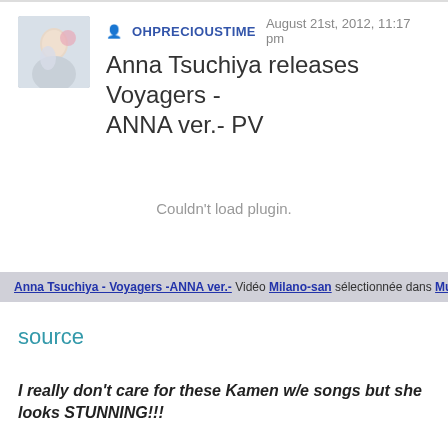Anna Tsuchiya releases Voyagers - ANNA ver.- PV
OHPRECIOUSTIME   August 21st, 2012, 11:17 pm
[Figure (other): Couldn't load plugin. Video embed area.]
Anna Tsuchiya - Voyagers -ANNA ver.- Vidéo Milano-san sélectionnée dans Musi
source
I really don't care for these Kamen w/e songs but she looks STUNNING!!!